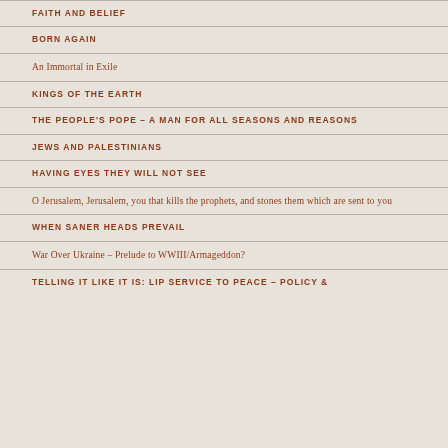FAITH AND BELIEF
BORN AGAIN
An Immortal in Exile
KINGS OF THE EARTH
THE PEOPLE'S POPE – A MAN FOR ALL SEASONS AND REASONS
JEWS AND PALESTINIANS
HAVING EYES THEY WILL NOT SEE
O Jerusalem, Jerusalem, you that kills the prophets, and stones them which are sent to you
WHEN SANER HEADS PREVAIL
War Over Ukraine – Prelude to WWIII/Armageddon?
TELLING IT LIKE IT IS: LIP SERVICE TO PEACE – POLICY &